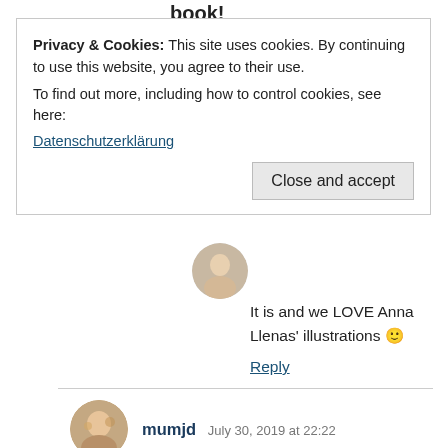book!
Privacy & Cookies: This site uses cookies. By continuing to use this website, you agree to their use.
To find out more, including how to control cookies, see here:
Datenschutzerklärung
Close and accept
It is and we LOVE Anna Llenas' illustrations 🙂
Reply
mumjd  July 30, 2019 at 22:22
We had a few starting school books when the boys were at that stage but none as fun as this one sounds #readwithme